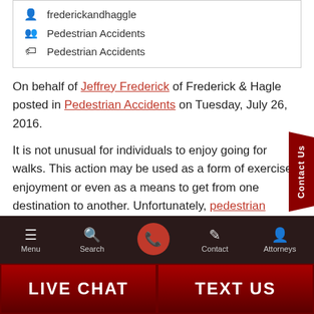frederickandhaggle
Pedestrian Accidents
Pedestrian Accidents
On behalf of Jeffrey Frederick of Frederick & Hagle posted in Pedestrian Accidents on Tuesday, July 26, 2016.
It is not unusual for individuals to enjoy going for walks. This action may be used as a form of exercise, enjoyment or even as a means to get from one destination to another. Unfortunately, pedestrian accidents could occur, and a series of unexpected
Menu  Search  Contact  Attorneys  LIVE CHAT  TEXT US